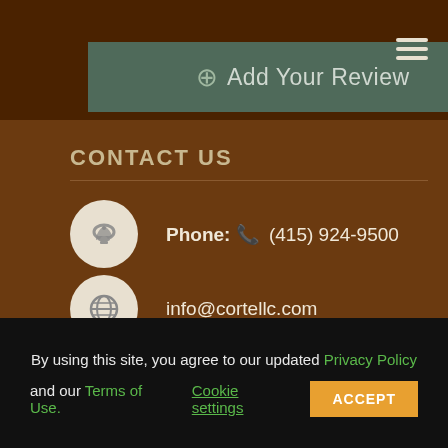[Figure (other): Add Your Review button with plus icon on dark green background in a dark brown header bar with hamburger menu icon]
CONTACT US
Phone: (415) 924-9500
info@cortellc.com
[Figure (logo): Corte-Clean logo in a gold-bordered box on dark background]
By using this site, you agree to our updated Privacy Policy and our Terms of Use. Cookie settings ACCEPT